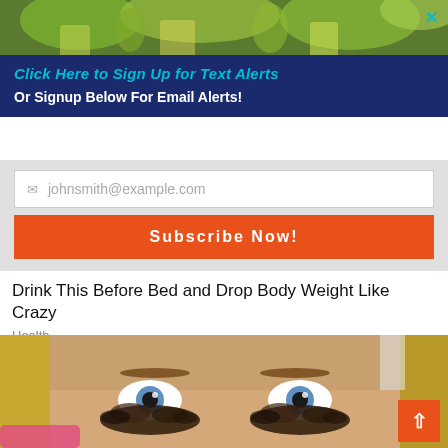[Figure (photo): Top background image showing green plants/drinks]
✕
Click Here to Sign Up for Text Alerts
Or Signup Below For Email Alerts!
johnsmith@example.com
Subscribe Now!
Drink This Before Bed and Drop Body Weight Like Crazy
Health
[Figure (photo): Close-up of woman's face with coffee grounds applied around eyes as beauty treatment, with pink brush visible]